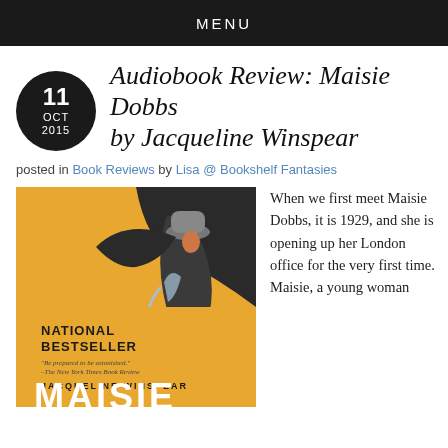MENU
Audiobook Review: Maisie Dobbs by Jacqueline Winspear
posted in Book Reviews by Lisa @ Bookshelf Fantasies
[Figure (illustration): Book cover of Maisie Dobbs by Jacqueline Winspear — National Bestseller. Yellow and dark background with a woman in a grey coat and hat seen from behind holding an umbrella. Text reads: 'Be prepared to be astonished.' —The New York Times Book Review. JACQUELINE WINSPEAR. MAISIE.]
When we first meet Maisie Dobbs, it is 1929, and she is opening up her London office for the very first time. Maisie, a young woman